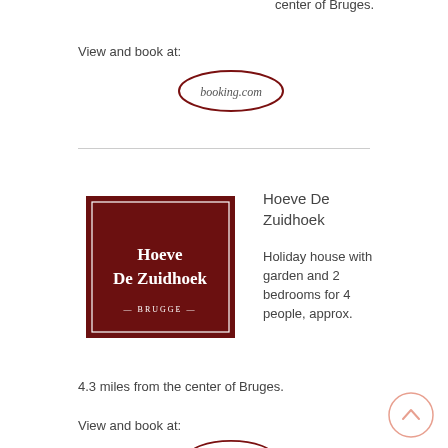center of Bruges.
View and book at:
[Figure (logo): booking.com oval logo in dark red]
[Figure (logo): Hoeve De Zuidhoek dark red square logo with white text and border]
Hoeve De Zuidhoek
Holiday house with garden and 2 bedrooms for 4 people, approx. 4.3 miles from the center of Bruges.
View and book at:
[Figure (logo): booking.com oval logo partially visible at bottom]